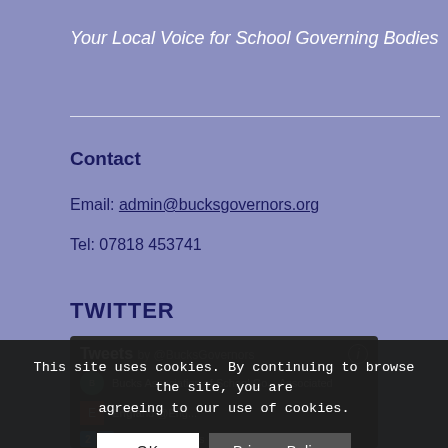Your Local Voice for School Governing Bodies
Contact
Email: admin@bucksgovernors.org
Tel: 07818 453741
TWITTER
[Figure (screenshot): Twitter widget showing Tweets by @BucksGovernors with partial tweet content visible]
This site uses cookies. By continuing to browse the site, you are agreeing to our use of cookies.
OK | Privacy Policy